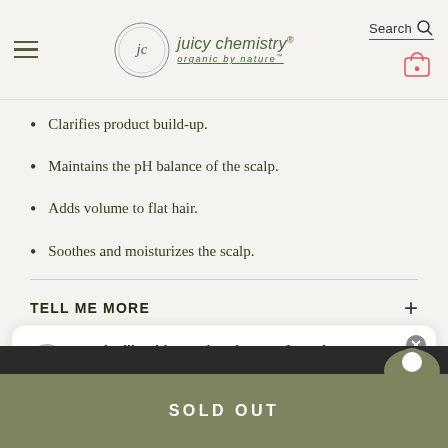[Figure (screenshot): Juicy Chemistry website header with hamburger menu, logo with circular monogram 'jc', brand name 'juicy chemistry' with registered trademark symbol, tagline 'organic by nature', search bar, and cart icon showing 0 items]
Clarifies product build-up.
Maintains the pH balance of the scalp.
Adds volume to flat hair.
Soothes and moisturizes the scalp.
TELL ME MORE
Looks like this product is out of stock we can notify you when the product is back in stock.
SOLD OUT